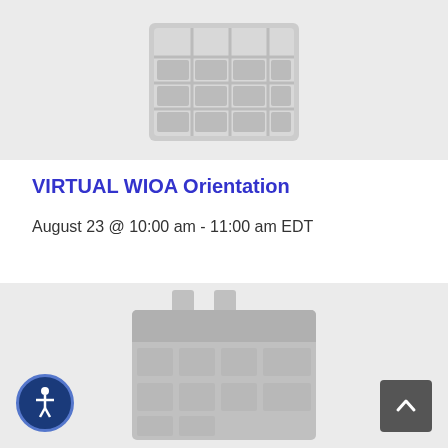[Figure (illustration): Gray placeholder calendar grid icon on light gray background]
VIRTUAL WIOA Orientation
August 23 @ 10:00 am - 11:00 am EDT
[Figure (illustration): Gray placeholder calendar icon on light gray background, partially visible]